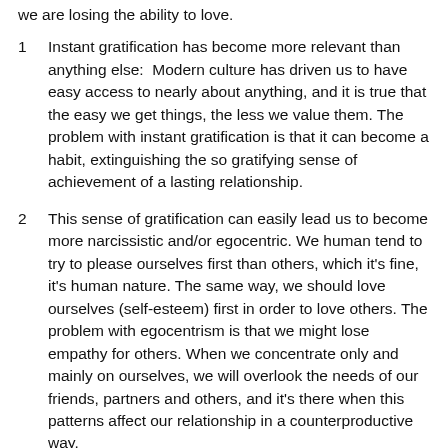we are losing the ability to love.
1   Instant gratification has become more relevant than anything else:  Modern culture has driven us to have easy access to nearly about anything, and it is true that the easy we get things, the less we value them. The problem with instant gratification is that it can become a habit, extinguishing the so gratifying sense of achievement of a lasting relationship.
2    This sense of gratification can easily lead us to become more narcissistic and/or egocentric. We human tend to try to please ourselves first than others, which it's fine, it's human nature. The same way, we should love ourselves (self-esteem) first in order to love others. The problem with egocentrism is that we might lose empathy for others. When we concentrate only and mainly on ourselves, we will overlook the needs of our friends, partners and others, and it's there when this patterns affect our relationship in a counterproductive way.
Technology in many ways has fooled us into believing perfectionism is bliss, but it is not, because when it...